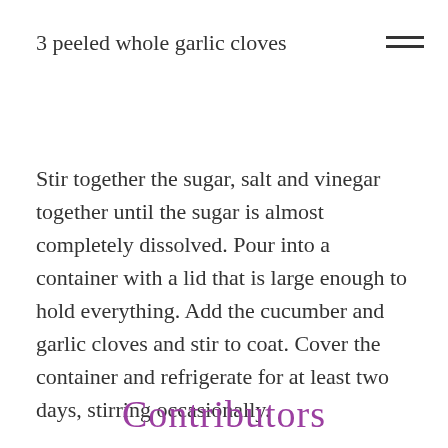3 peeled whole garlic cloves
Stir together the sugar, salt and vinegar together until the sugar is almost completely dissolved. Pour into a container with a lid that is large enough to hold everything. Add the cucumber and garlic cloves and stir to coat. Cover the container and refrigerate for at least two days, stirring occasionally.
Contributors